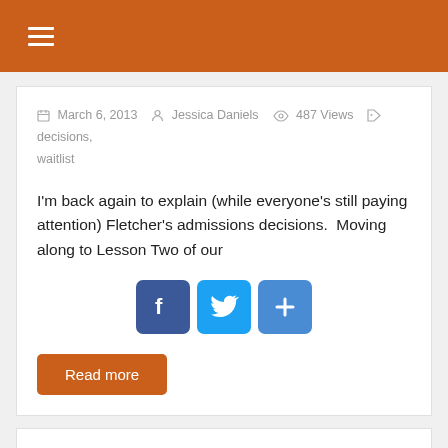≡
March 6, 2013  Jessica Daniels  487 Views  decisions, waitlist
I'm back again to explain (while everyone's still paying attention) Fletcher's admissions decisions.  Moving along to Lesson Two of our
[Figure (other): Social sharing buttons: Facebook (blue), Twitter (blue bird), Share/Add (blue plus)]
Read more
For those of you still waiting for us...